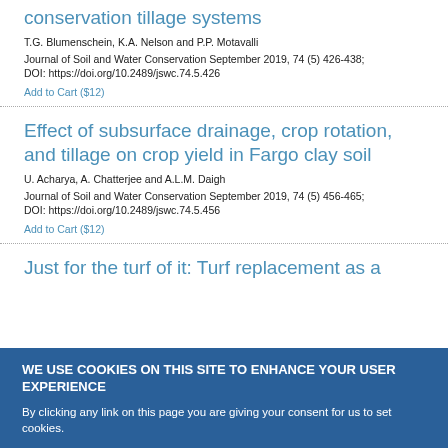conservation tillage systems
T.G. Blumenschein, K.A. Nelson and P.P. Motavalli
Journal of Soil and Water Conservation September 2019, 74 (5) 426-438; DOI: https://doi.org/10.2489/jswc.74.5.426
Add to Cart ($12)
Effect of subsurface drainage, crop rotation, and tillage on crop yield in Fargo clay soil
U. Acharya, A. Chatterjee and A.L.M. Daigh
Journal of Soil and Water Conservation September 2019, 74 (5) 456-465; DOI: https://doi.org/10.2489/jswc.74.5.456
Add to Cart ($12)
Just for the turf of it: Turf replacement as a
WE USE COOKIES ON THIS SITE TO ENHANCE YOUR USER EXPERIENCE
By clicking any link on this page you are giving your consent for us to set cookies.